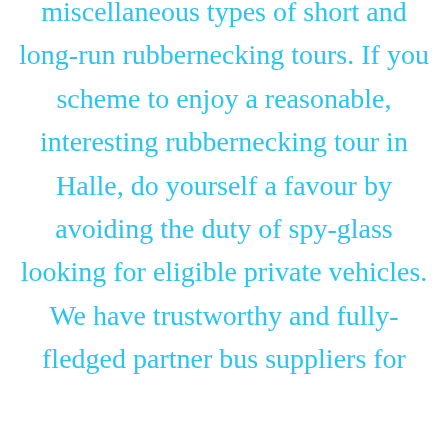miscellaneous types of short and long-run rubbernecking tours. If you scheme to enjoy a reasonable, interesting rubbernecking tour in Halle, do yourself a favour by avoiding the duty of spy-glass looking for eligible private vehicles. We have trustworthy and fully-fledged partner bus suppliers for